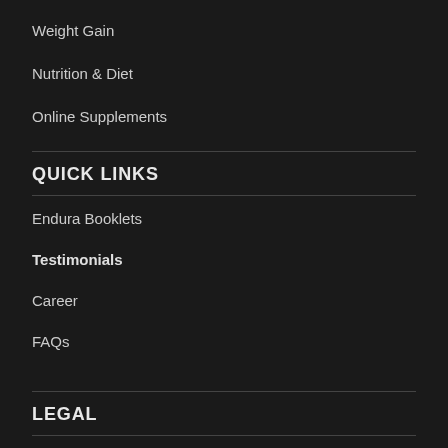Weight Gain
Nutrition & Diet
Online Supplements
QUICK LINKS
Endura Booklets
Testimonials
Career
FAQs
LEGAL